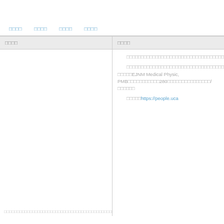□□□□   □□□□   □□□□   □□□□
□□□□
□□□□
□□□□□□□□□□□□□□□□□□□□□□□□□□□□□□□□□□□□□□□□□□□□□□□□□□□□□□□□□□□□□□□□□□□□□□□□□□□□□□□□□□□□□□□□□□□□□□□□□□□□□□□□□□□□□□□□□□□□□□□□□□□□□□□□□□□□□□□□□□□□□□□□□□□□□□□□□□□□□□□□□□□□□□□□□□□□□□□□□□□□□□□□□□□□□□□□□□□□□□□□□□□□□□□□□□□□□□□□□□□□□□□□□□"□□□□□□□□□□□□"□□□□/□□□□□EJNM Medical Physic, PMB□□□□□□□□□□□280□□□□□□□□□□□□□□□/□□□□□□
□□□□□https://people.uca